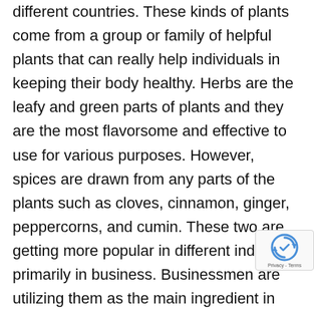different countries. These kinds of plants come from a group or family of helpful plants that can really help individuals in keeping their body healthy. Herbs are the leafy and green parts of plants and they are the most flavorsome and effective to use for various purposes. However, spices are drawn from any parts of the plants such as cloves, cinnamon, ginger, peppercorns, and cumin. These two are getting more popular in different industries primarily in business. Businessmen are utilizing them as the main ingredient in their products so that they can guarantee their customers that their products are safe and effective to use. For chefs, they always use these ingredients in the foods that usually eat by most vegetarians. Aside from that, they also put herbs in the drinks to give the body a refreshing feeling. With spices and herbs, people can will no longer use unhelpful medicines and unhealthy foods that can give them health issues. This kind of plants will also they use the
[Figure (other): reCAPTCHA badge with rotating arrow icon and Privacy - Terms text]